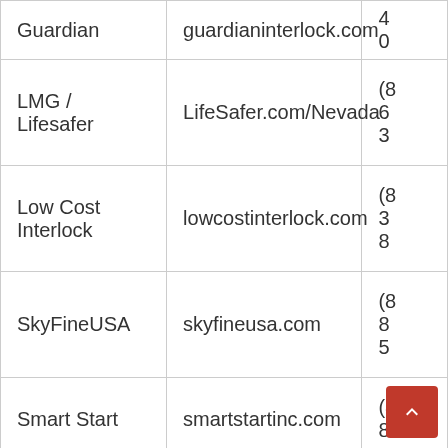| Name | Website | Phone |
| --- | --- | --- |
| Guardian | guardianinterlock.com | 40 |
| LMG / Lifesafer | LifeSafer.com/Nevada | (8
6
3 |
| Low Cost Interlock | lowcostinterlock.com | (8
3
8 |
| SkyFineUSA | skyfineusa.com | (8
8
5 |
| Smart Start | smartstartinc.com | (8
8 |